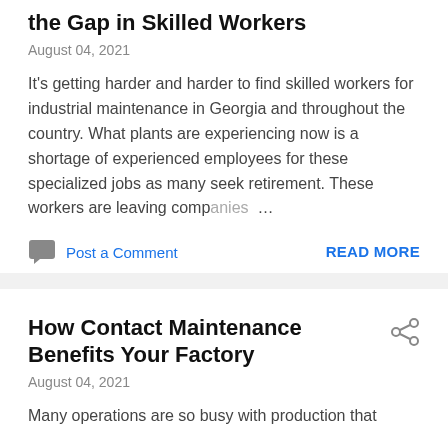the Gap in Skilled Workers
August 04, 2021
It's getting harder and harder to find skilled workers for industrial maintenance in Georgia and throughout the country. What plants are experiencing now is a shortage of experienced employees for these specialized jobs as many seek retirement. These workers are leaving companies …
Post a Comment
READ MORE
How Contact Maintenance Benefits Your Factory
August 04, 2021
Many operations are so busy with production that